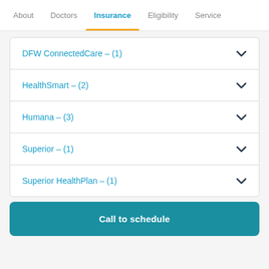About  Doctors  Insurance  Eligibility  Service
DFW ConnectedCare – (1)
HealthSmart – (2)
Humana – (3)
Superior – (1)
Superior HealthPlan – (1)
Call to schedule